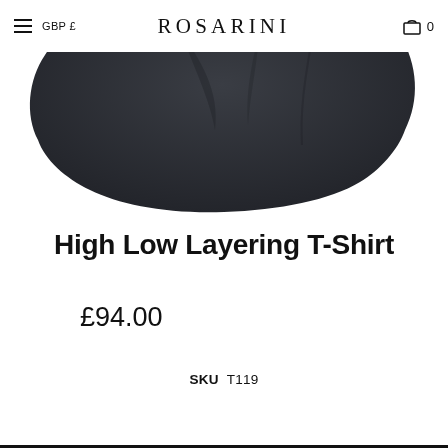≡  GBP £  ROSARINI  🛒 0
[Figure (photo): Bottom hem of a dark navy/black High Low Layering T-Shirt, showing curved high-low hemline against white background]
High Low Layering T-Shirt
£94.00
SKU  T119